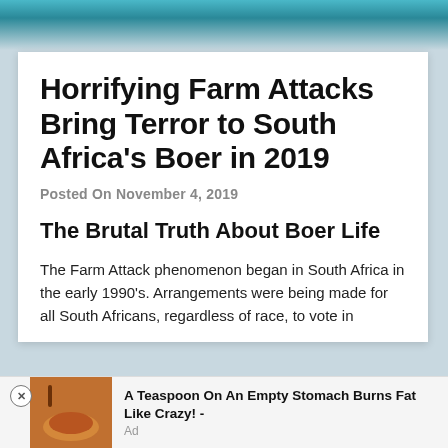Horrifying Farm Attacks Bring Terror to South Africa's Boer in 2019
Posted On November 4, 2019
The Brutal Truth About Boer Life
The Farm Attack phenomenon began in South Africa in the early 1990's. Arrangements were being made for all South Africans, regardless of race, to vote in
[Figure (other): Advertisement banner: image of food/chicken with text 'A Teaspoon On An Empty Stomach Burns Fat Like Crazy! - Ad']